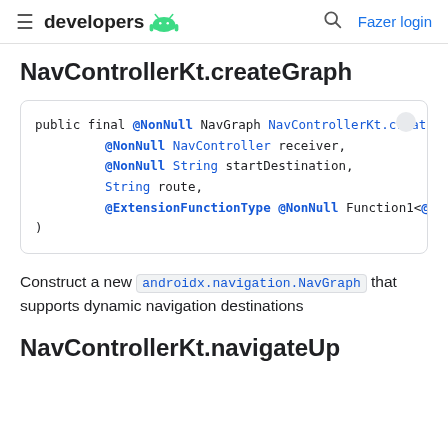≡ developers 🤖  🔍 Fazer login
NavControllerKt.createGraph
[Figure (screenshot): Code block showing: public final @NonNull NavGraph NavControllerKt.creat
    @NonNull NavController receiver,
    @NonNull String startDestination,
    String route,
    @ExtensionFunctionType @NonNull Function1<@NonNu
)]
Construct a new androidx.navigation.NavGraph that supports dynamic navigation destinations
NavControllerKt.navigateUp